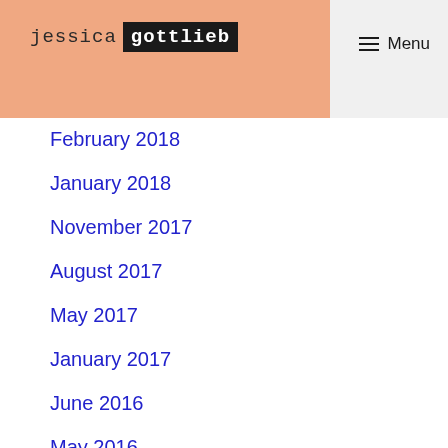jessica gottlieb
February 2018
January 2018
November 2017
August 2017
May 2017
January 2017
June 2016
May 2016
March 2016
September 2015